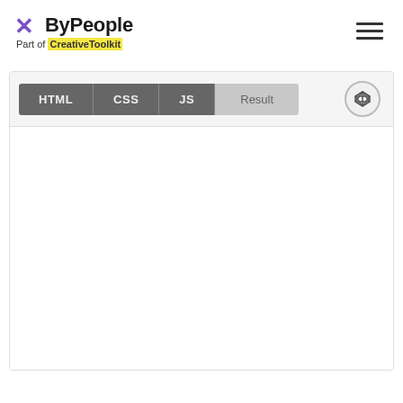ByPeople — Part of CreativeToolkit
[Figure (screenshot): CodePen-style embed widget with tabs: HTML, CSS, JS, Result (active) and a CodePen icon button, with an empty white result pane below]